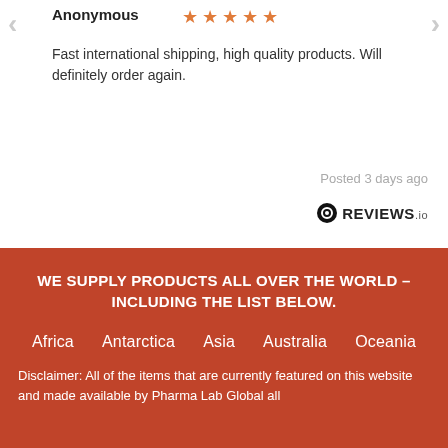Anonymous ★★★★★
Fast international shipping, high quality products. Will definitely order again.
Posted 3 days ago
[Figure (logo): REVIEWS.io logo with circle icon]
WE SUPPLY PRODUCTS ALL OVER THE WORLD – INCLUDING THE LIST BELOW.
Africa
Antarctica
Asia
Australia
Oceania
Europe
North America
South America
Disclaimer: All of the items that are currently featured on this website and made available by Pharma Lab Global all